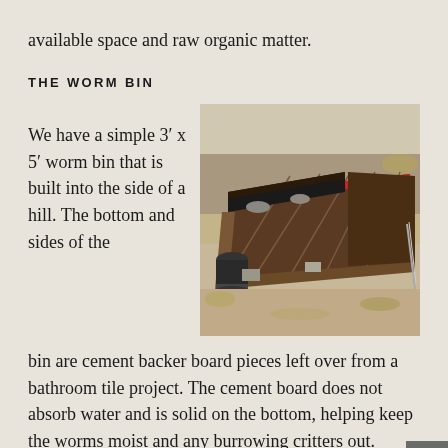available space and raw organic matter.
THE WORM BIN
We have a simple 3′ x 5′ worm bin that is built into the side of a hill. The bottom and sides of the bin are cement backer board pieces left over from a bathroom tile project. The cement board does not absorb water and is solid on the bottom, helping keep the worms moist and any burrowing critters out. Anything solid could be used for the floor; we just
[Figure (photo): Outdoor worm bin built into the side of a hill, covered with a brown tarp/cover, with a black bucket nearby, surrounded by dry grass and dirt.]